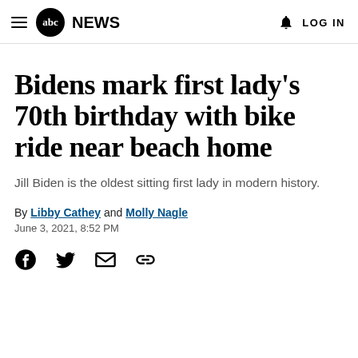abc NEWS  LOG IN
Bidens mark first lady's 70th birthday with bike ride near beach home
Jill Biden is the oldest sitting first lady in modern history.
By Libby Cathey and Molly Nagle
June 3, 2021, 8:52 PM
[Figure (other): Social media share icons: Facebook, Twitter, Email, Link]